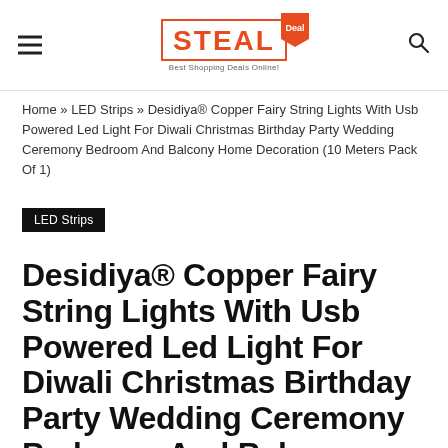STEAL Deal — Best Shopping Deals Online
Home » LED Strips » Desidiya® Copper Fairy String Lights With Usb Powered Led Light For Diwali Christmas Birthday Party Wedding Ceremony Bedroom And Balcony Home Decoration (10 Meters Pack Of 1)
LED Strips
Desidiya® Copper Fairy String Lights With Usb Powered Led Light For Diwali Christmas Birthday Party Wedding Ceremony Bedroom And Balcony Home Decoration (10 Meters Pack Of 1)